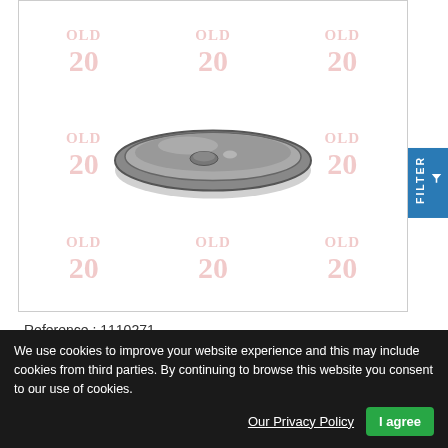[Figure (photo): Camshaft cover product photo — a circular metal dish/cover shown from above at a slight angle, with a watermark grid showing 'OLD 20' repeated across the image background in pink/red text.]
Reference : 1110271
Camshaft Cover
We use cookies to improve your website experience and this may include cookies from third parties. By continuing to browse this website you consent to our use of cookies.
Our Privacy Policy
I agree